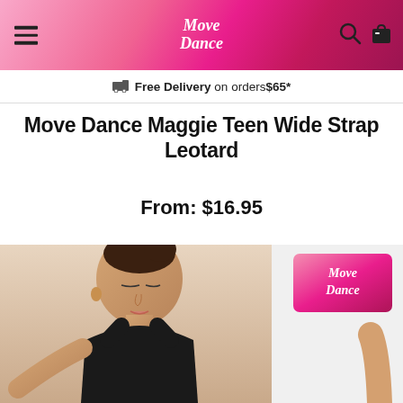Move Dance - header with hamburger menu, logo, search and cart icons
Free Delivery on orders $65*
Move Dance Maggie Teen Wide Strap Leotard
From: $16.95
[Figure (photo): Photo of a young dancer wearing a black wide strap leotard, looking down, arms extended. Partially cropped. Second image shows a white/nude leotard on the right side with Move Dance pink logo badge.]